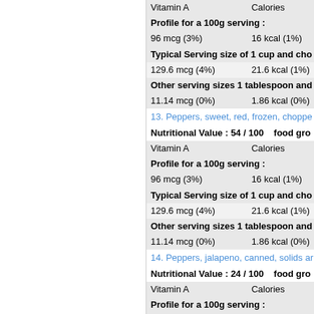| Vitamin A | Calories |
| --- | --- |
| Profile for a 100g serving : |  |
| 96 mcg (3%) | 16 kcal (1%) |
| Typical Serving size of 1 cup and cho |  |
| 129.6 mcg (4%) | 21.6 kcal (1%) |
| Other serving sizes 1 tablespoon and |  |
| 11.14 mcg (0%) | 1.86 kcal (0%) |
13. Peppers, sweet, red, frozen, choppe
Nutritional Value : 54 / 100    food gro
| Vitamin A | Calories |
| --- | --- |
| Profile for a 100g serving : |  |
| 96 mcg (3%) | 16 kcal (1%) |
| Typical Serving size of 1 cup and cho |  |
| 129.6 mcg (4%) | 21.6 kcal (1%) |
| Other serving sizes 1 tablespoon and |  |
| 11.14 mcg (0%) | 1.86 kcal (0%) |
14. Peppers, jalapeno, canned, solids ar
Nutritional Value : 24 / 100    food gro
| Vitamin A | Calories |
| --- | --- |
| Profile for a 100g serving : |  |
| 85 mcg (3%) | 27 kcal (1%) |
| Typical Serving size of 1 cup and cho |  |
| 115.6 mcg (4%) | 36.72 kcal (2% |
| Other serving sizes 1 cup and sliced |  |
| 89.4 mcg (3%) | 28.99 kcal (1%) |